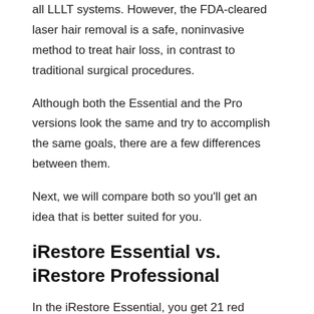all LLLT systems. However, the FDA-cleared laser hair removal is a safe, noninvasive method to treat hair loss, in contrast to traditional surgical procedures.
Although both the Essential and the Pro versions look the same and try to accomplish the same goals, there are a few differences between them.
Next, we will compare both so you'll get an idea that is better suited for you.
iRestore Essential vs. iRestore Professional
In the iRestore Essential, you get 21 red medical-grade lasers and 30 red super-luminescent light-emitting diodes integrated into an outer helmet with a protective inner liner. Combining lasers and non laser LEDs enables the entire surface of the head and the most affected areas to be illuminated. However, the Profession